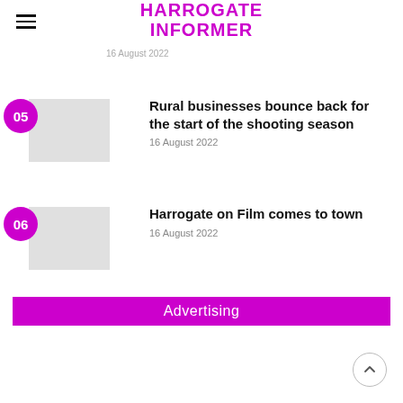HARROGATE INFORMER
16 August 2022
Rural businesses bounce back for the start of the shooting season
16 August 2022
Harrogate on Film comes to town
16 August 2022
Advertising